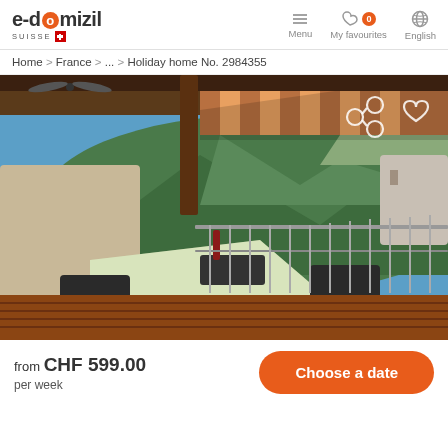e-domizil SUISSE | Menu | My favourites 0 | English
Home > France > ... > Holiday home No. 2984355
[Figure (photo): Outdoor terrace with dining table and chairs set with tablecloth, surrounded by a wooden deck and railing, overlooking green mountains under a clear blue sky. A striped awning and wooden ceiling with a fan are visible above.]
from CHF 599.00 per week
Choose a date